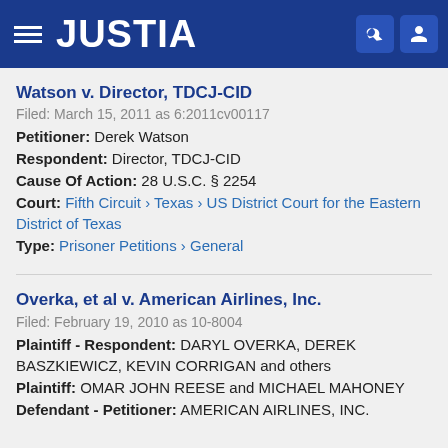JUSTIA
Watson v. Director, TDCJ-CID
Filed: March 15, 2011 as 6:2011cv00117
Petitioner: Derek Watson
Respondent: Director, TDCJ-CID
Cause Of Action: 28 U.S.C. § 2254
Court: Fifth Circuit › Texas › US District Court for the Eastern District of Texas
Type: Prisoner Petitions › General
Overka, et al v. American Airlines, Inc.
Filed: February 19, 2010 as 10-8004
Plaintiff - Respondent: DARYL OVERKA, DEREK BASZKIEWICZ, KEVIN CORRIGAN and others
Plaintiff: OMAR JOHN REESE and MICHAEL MAHONEY
Defendant - Petitioner: AMERICAN AIRLINES, INC.